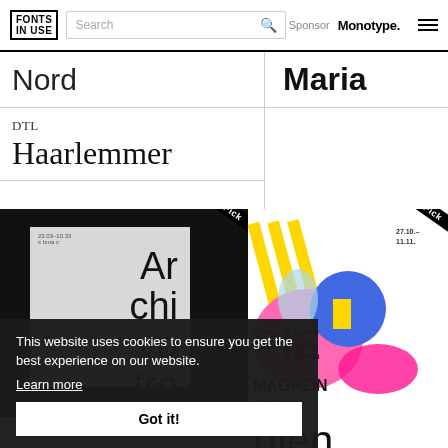FONTS IN USE | Search | Sponsor Monotype.
Nord
Maria
DTL Haarlemmer
[Figure (photo): Black background with light gray card showing large text 'Ar chi vo tro' in thin sans-serif font. Staff Pick ribbon in top-right corner.]
[Figure (photo): Colorful collage/magazine cover with pink, blue, yellow shapes and 'MAGAZIN SPIELART FESTIVAL MÜNCHEN' text. Staff Pick ribbon in top-right corner.]
This website uses cookies to ensure you get the best experience on our website.
Learn more
Got it!
dien